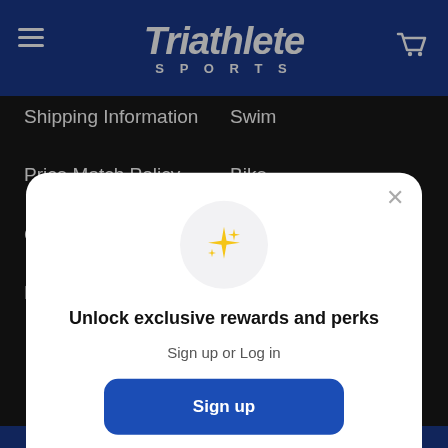Triathlete SPORTS
Shipping Information
Swim
Price Match Policy
Bike
Coupon Policy
Military Discount
[Figure (screenshot): Modal popup with sparkle icon, heading 'Unlock exclusive rewards and perks', subtext 'Sign up or Log in', a blue Sign up button, and a 'Already have an account? Sign in' link]
Unlock exclusive rewards and perks
Sign up or Log in
Sign up
Already have an account? Sign in